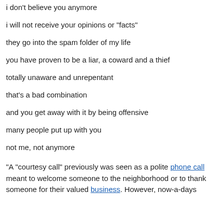i don't believe you anymore
i will not receive your opinions or "facts"
they go into the spam folder of my life
you have proven to be a liar, a coward and a thief
totally unaware and unrepentant
that's a bad combination
and you get away with it by being offensive
many people put up with you
not me, not anymore
"A "courtesy call" previously was seen as a polite phone call meant to welcome someone to the neighborhood or to thank someone for their valued business. However, now-a-days